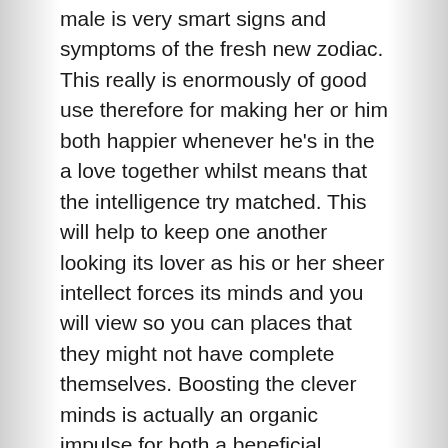male is very smart signs and symptoms of the fresh new zodiac. This really is enormously of good use therefore for making her or him both happier whenever he's in the a love together whilst means that the intelligence try matched. This will help to keep one another looking its lover as his or her sheer intellect forces its minds and you will view so you can places that they might not have complete themselves. Boosting the clever minds is actually an organic impulse for both a beneficial Gemini son and you will an Aries lady because of its inquisitive natures.